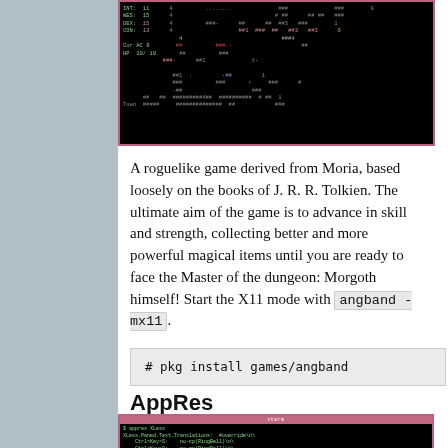[Figure (screenshot): Terminal screenshot of Angband roguelike game showing dungeon map with colored ASCII characters on black background, stats showing INT, WES, DEX, CON, Cur AC, HP 10/19]
A roguelike game derived from Moria, based loosely on the books of J. R. R. Tolkien. The ultimate aim of the game is to advance in skill and strength, collecting better and more powerful magical items until you are ready to face the Master of the dungeon: Morgoth himself! Start the X11 mode with angband -mx11.
# pkg install games/angband
AppRes
[Figure (screenshot): Terminal screenshot showing xterm window with appres XLess command output, displaying XLess.Paned.Text.Translations: #override\n\, Ctrl<Key>S: no-cp(RingBell)\n\, Ctrl<Key>8: no-cp(RingBell)\n\, <Key>prior: next-page()\n\]